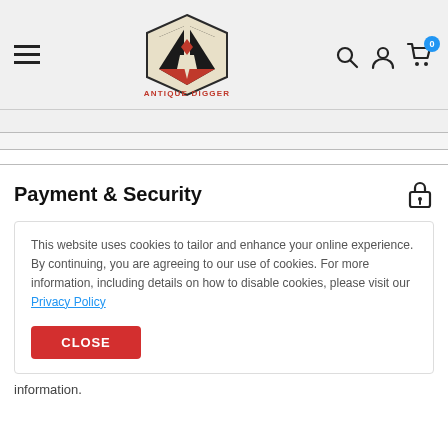[Figure (logo): Antique Digger logo — shield with shovel and diamond shapes, text ANTIQUE DIGGER below in red]
Payment & Security
This website uses cookies to tailor and enhance your online experience. By continuing, you are agreeing to our use of cookies. For more information, including details on how to disable cookies, please visit our Privacy Policy
information.